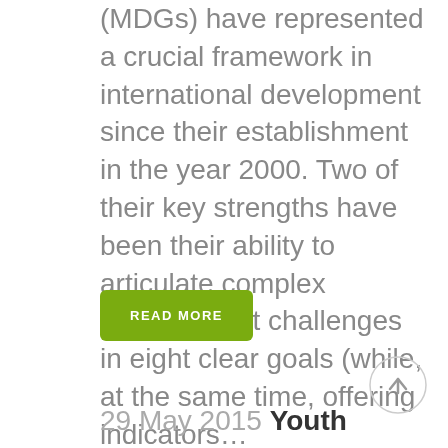(MDGs) have represented a crucial framework in international development since their establishment in the year 2000. Two of their key strengths have been their ability to articulate complex development challenges in eight clear goals (while, at the same time, offering indicators…
READ MORE
[Figure (other): Scroll-to-top button: a circular grey outlined button with an upward-pointing arrow icon]
29 May 2015 Youth